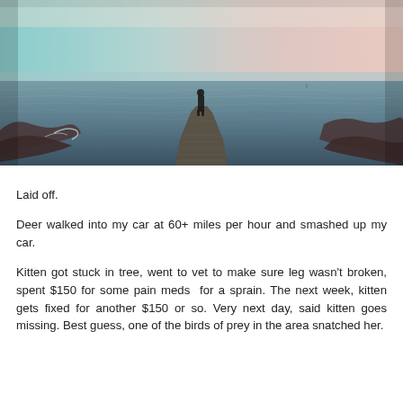[Figure (photo): A person standing at the end of a wooden dock/pier extending into a calm sea at dusk/dawn. The sky has pastel pink and teal hues. Rocky shoreline visible on both sides of the pier. Moody, atmospheric photograph.]
Laid off.
Deer walked into my car at 60+ miles per hour and smashed up my car.
Kitten got stuck in tree, went to vet to make sure leg wasn't broken, spent $150 for some pain meds for a sprain. The next week, kitten gets fixed for another $150 or so. Very next day, said kitten goes missing. Best guess, one of the birds of prey in the area snatched her.